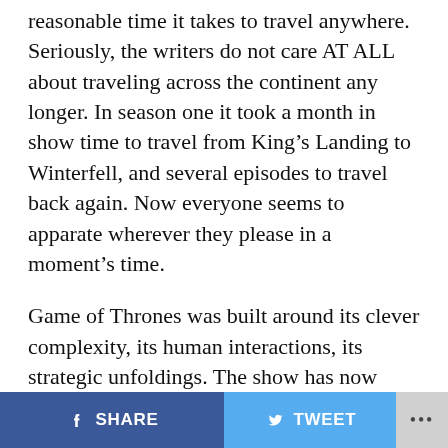reasonable time it takes to travel anywhere. Seriously, the writers do not care AT ALL about traveling across the continent any longer. In season one it took a month in show time to travel from King’s Landing to Winterfell, and several episodes to travel back again. Now everyone seems to apparate wherever they please in a moment’s time.
Game of Thrones was built around its clever complexity, its human interactions, its strategic unfoldings. The show has now given away to climactic action and easy culminations. Part of that is truly breath-taking, as we witnessed in last week’s Loot Train Attack. But in slower episodes like these, many moments between characters, even if they seem exciting in the moment, appear lazy in retrospect. The show seems to be inadvertently begging for more breathing room, which would allow true artistry
f SHARE   🐦 TWEET   •••